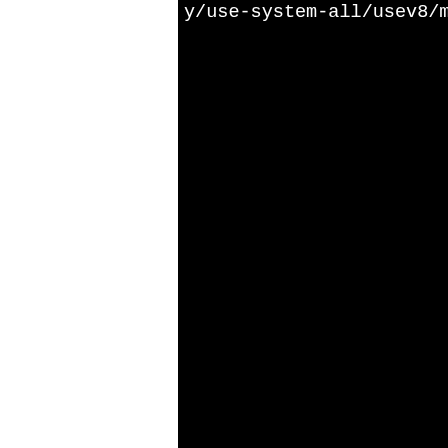[Figure (screenshot): Terminal/build output showing compiler command fragments with paths including use-system-all/usev8/mongo, build/linux2/cxx, extralib_pcrecpp_pcre, linux-g++, and various .o object file references]